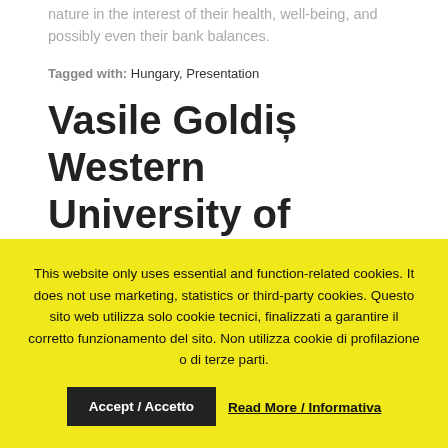nature in the interest of their health, well-being, and possibly even their bank balances.
Tagged with: Hungary, Presentation
Vasile Goldiș Western University of Arad, Arad, Romania
This website only uses essential and function-related cookies. It does not use marketing, statistics or third-party cookies. Questo sito web utilizza solo cookie tecnici, finalizzati a garantire il corretto funzionamento del sito. Non utilizza cookie di profilazione o di terze parti.
Accept / Accetto
Read More / Informativa